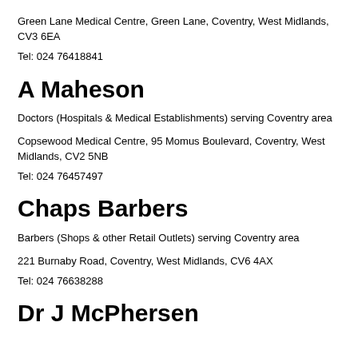Green Lane Medical Centre, Green Lane, Coventry, West Midlands, CV3 6EA
Tel: 024 76418841
A Maheson
Doctors (Hospitals & Medical Establishments) serving Coventry area
Copsewood Medical Centre, 95 Momus Boulevard, Coventry, West Midlands, CV2 5NB
Tel: 024 76457497
Chaps Barbers
Barbers (Shops & other Retail Outlets) serving Coventry area
221 Burnaby Road, Coventry, West Midlands, CV6 4AX
Tel: 024 76638288
Dr J McPhersen